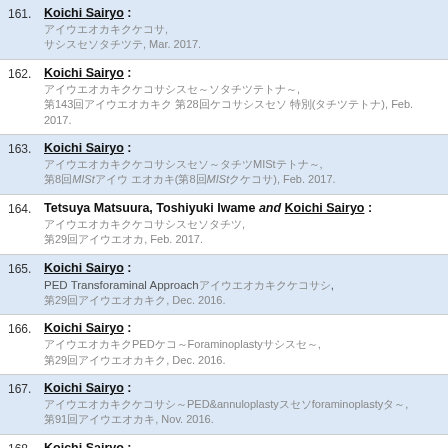161. Koichi Sairyo : [Japanese text], [Japanese text], Mar. 2017.
162. Koichi Sairyo : [Japanese text]～[Japanese text]～, 第143回[Japanese] 第28回[Japanese] 特別(ランチョンセミナー), Feb. 2017.
163. Koichi Sairyo : [Japanese text]～[Japanese]MISt[Japanese]～, 第8回MISt研究会 学術集会(第8回MISt研究会), Feb. 2017.
164. Tetsuya Matsuura, Toshiyuki Iwame and Koichi Sairyo : [Japanese text], 第29回[Japanese], Feb. 2017.
165. Koichi Sairyo : PED Transforaminal Approach[Japanese text], 第29回[Japanese], Dec. 2016.
166. Koichi Sairyo : [Japanese]PED～Foraminoplasty[Japanese]～, 第29回[Japanese], Dec. 2016.
167. Koichi Sairyo : [Japanese]～PED&annuloplasty[Japanese]foraminoplasty～, 第91回[Japanese], Nov. 2016.
168. Koichi Sairyo : [Japanese]～Mobilization & Stabilization～